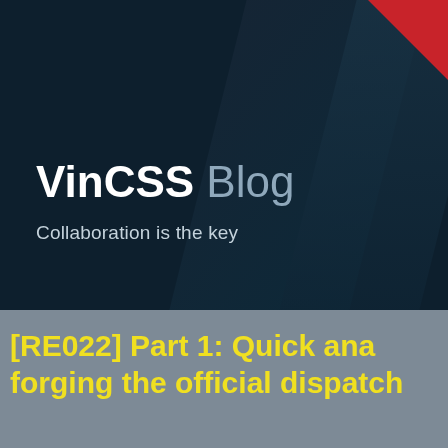[Figure (illustration): VinCSS Blog banner with dark navy background, diagonal stripe overlays in dark blue, red triangular corner accent top-right, displaying brand name 'VinCSS Blog' and tagline 'Collaboration is the key']
[RE022] Part 1: Quick ana forging the official dispatch